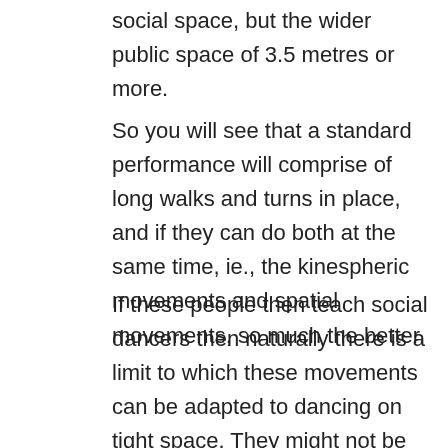social space, but the wider public space of 3.5 metres or more.
So you will see that a standard performance will comprise of long walks and turns in place, and if they can do both at the same time, ie., the kinespheric movements and spatial movements, so much the better.
If these people then teach social dancers then naturally there is a limit to which these movements can be adapted to dancing on tight space. They might not be testing the public space, but on the other hand the general nature of the dance will in the area of (a) testing the kinesphere, and (b) testing the